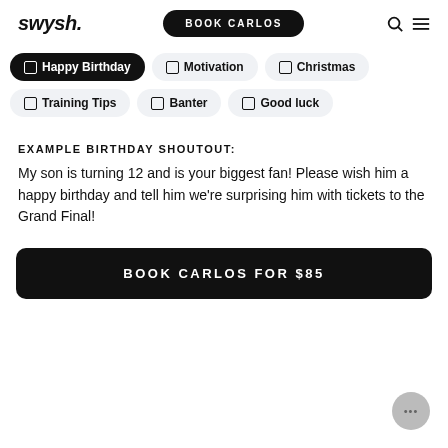swysh. | BOOK CARLOS
Happy Birthday
Motivation
Christmas
Training Tips
Banter
Good luck
EXAMPLE BIRTHDAY SHOUTOUT:
My son is turning 12 and is your biggest fan! Please wish him a happy birthday and tell him we're surprising him with tickets to the Grand Final!
BOOK CARLOS FOR $85